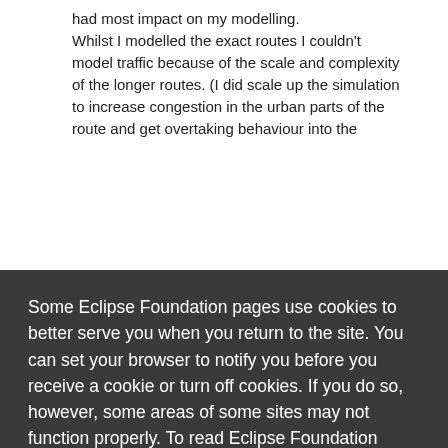had most impact on my modelling. Whilst I modelled the exact routes I couldn't model traffic because of the scale and complexity of the longer routes. (I did scale up the simulation to increase congestion in the urban parts of the route and get overtaking behaviour into the
Some Eclipse Foundation pages use cookies to better serve you when you return to the site. You can set your browser to notify you before you receive a cookie or turn off cookies. If you do so, however, some areas of some sites may not function properly. To read Eclipse Foundation Privacy Policy click here.
| s) | Efficiency (km/k |
| --- | --- |
| 21 | 6. |
| 83 | 6. |
| 35 | 5. |
| 23 | 5. |
| 71 | 5. |
| 96 | 7. |
|  | 24.6 | 372.7 | 16,034 | 6. |
| --- | --- | --- | --- | --- |
| 55mph | 24.6 | 372.7 | 16,034 | 6. |